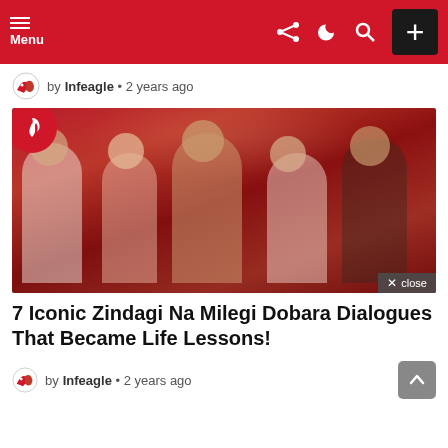Menu
by Infeagle • 2 years ago
[Figure (photo): Promotional photo of cast from Zindagi Na Milegi Dobara, five people celebrating with arms raised, red festive background]
7 Iconic Zindagi Na Milegi Dobara Dialogues That Became Life Lessons!
by Infeagle • 2 years ago